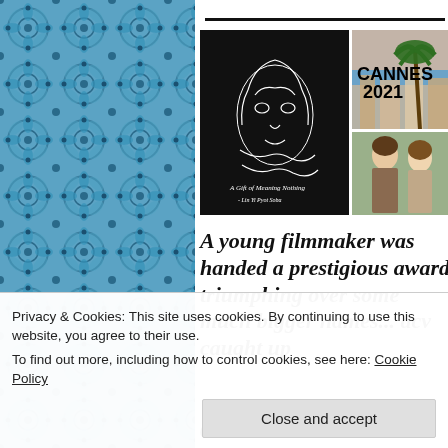[Figure (photo): Collage image showing a film poster on left (dark background with white line-drawn face, text 'A Gift of Meaning Nothing' by Lin Yi Pyot Soba) and Cannes 2021 photos on right (palm tree against sky, two women talking at what appears to be a festival event). Bold text overlay reads 'CANNES 2021'.]
A young filmmaker was handed a prestigious award triumphing over some much bigger names... acv caught up
Privacy & Cookies: This site uses cookies. By continuing to use this website, you agree to their use.
To find out more, including how to control cookies, see here: Cookie Policy
Close and accept
at the time...and this